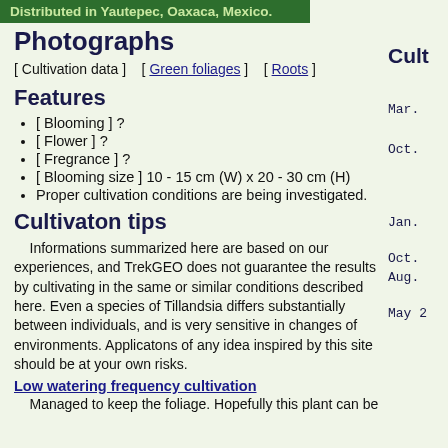Distributed in Yautepec, Oaxaca, Mexico.
Photographs
[ Cultivation data ]    [ Green foliages ]    [ Roots ]
Features
[ Blooming ] ?
[ Flower ] ?
[ Fregrance ] ?
[ Blooming size ] 10 - 15 cm (W) x 20 - 30 cm (H)
Proper cultivation conditions are being investigated.
Cultivaton tips
Informations summarized here are based on our experiences, and TrekGEO does not guarantee the results by cultivating in the same or similar conditions described here. Even a species of Tillandsia differs substantially between individuals, and is very sensitive in changes of environments. Applicatons of any idea inspired by this site should be at your own risks.
Low watering frequency cultivation
Managed to keep the foliage. Hopefully this plant can be